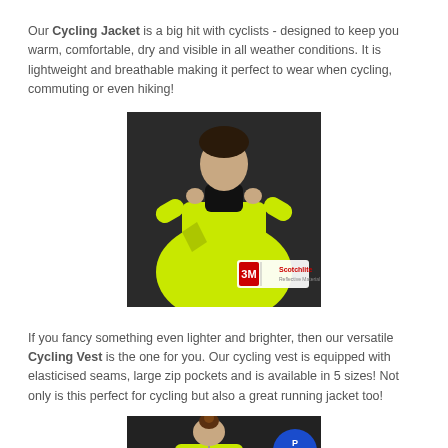Our Cycling Jacket is a big hit with cyclists - designed to keep you warm, comfortable, dry and visible in all weather conditions. It is lightweight and breathable making it perfect to wear when cycling, commuting or even hiking!
[Figure (photo): Man wearing a bright yellow cycling jacket with 3M Scotchlite reflective material logo visible, photographed against a dark background]
If you fancy something even lighter and brighter, then our versatile Cycling Vest is the one for you. Our cycling vest is equipped with elasticised seams, large zip pockets and is available in 5 sizes! Not only is this perfect for cycling but also a great running jacket too!
[Figure (photo): Person wearing a bright yellow cycling vest, photographed against a dark background with a blue road sign visible]